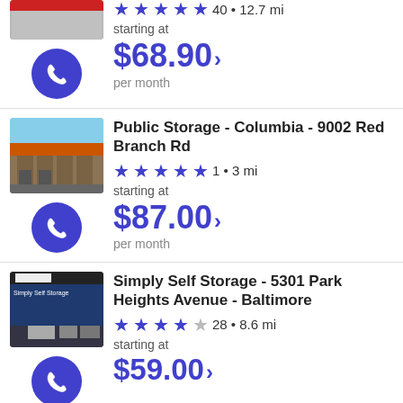[Figure (screenshot): Partial listing 1: facility photo (top cut off), phone button, 5-star rating, 40 reviews, 12.7 mi, starting at $68.90 per month]
[Figure (screenshot): Listing 2: Public Storage - Columbia - 9002 Red Branch Rd, facility photo, phone button, 5-star rating, 1 review, 3 mi, starting at $87.00 per month]
[Figure (screenshot): Listing 3: Simply Self Storage - 5301 Park Heights Avenue - Baltimore, facility photo, phone button, 3.5-star rating, 28 reviews, 8.6 mi, starting at $59.00 per month (partially visible)]